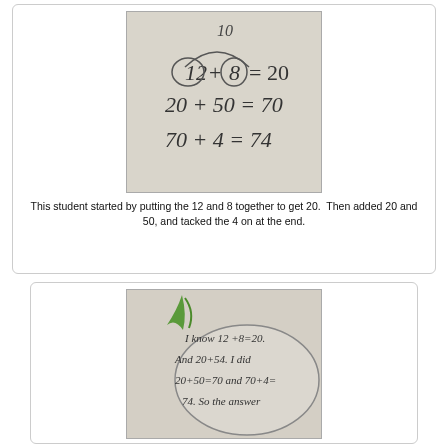[Figure (photo): Handwritten student math work showing: 10 at top with arc, then 12 + 8 = 20, then 20 + 50 = 70, then 70 + 4 = 74]
This student started by putting the 12 and 8 together to get 20.  Then added 20 and 50, and tacked the 4 on at the end.
[Figure (photo): Handwritten student work inside a drawn oval shape with green arrow decoration, showing: I know 12+8=20. And 20+54. I did 20+50=70 and 70+4= (with answer below)]